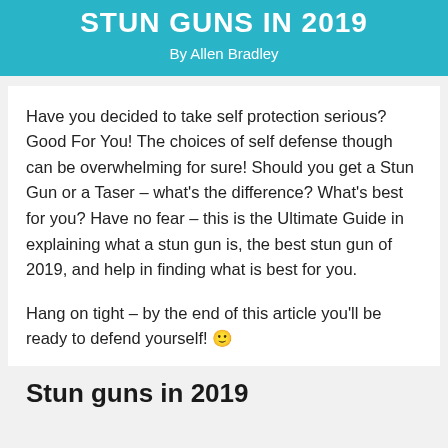STUN GUNS IN 2019
By Allen Bradley
Have you decided to take self protection serious? Good For You! The choices of self defense though can be overwhelming for sure! Should you get a Stun Gun or a Taser – what's the difference? What's best for you? Have no fear – this is the Ultimate Guide in explaining what a stun gun is, the best stun gun of 2019, and help in finding what is best for you.
Hang on tight – by the end of this article you'll be ready to defend yourself! 🙂
Stun guns in 2019